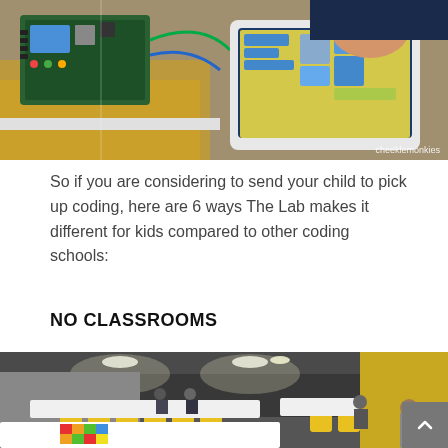[Figure (photo): A child's hand pointing at a tablet screen showing a coding interface, with a yellow electronic circuit board/Arduino device visible on the left. Watermark 'cheeklemonkies' visible at bottom right.]
So if you are considering to send your child to pick up coding, here are 6 ways The Lab makes it different for kids compared to other coding schools:
NO CLASSROOMS
[Figure (photo): Wide-angle photo of an open workspace/makerspace with yellow chairs, large white tables, and children working. The space has an industrial ceiling with lights and a colorful grid mat on one table.]